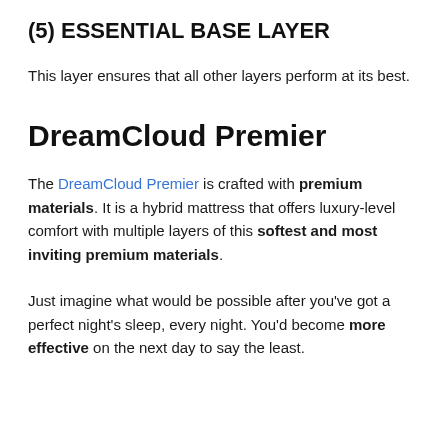(5) ESSENTIAL BASE LAYER
This layer ensures that all other layers perform at its best.
DreamCloud Premier
The DreamCloud Premier is crafted with premium materials. It is a hybrid mattress that offers luxury-level comfort with multiple layers of this softest and most inviting premium materials.
Just imagine what would be possible after you've got a perfect night's sleep, every night. You'd become more effective on the next day to say the least.